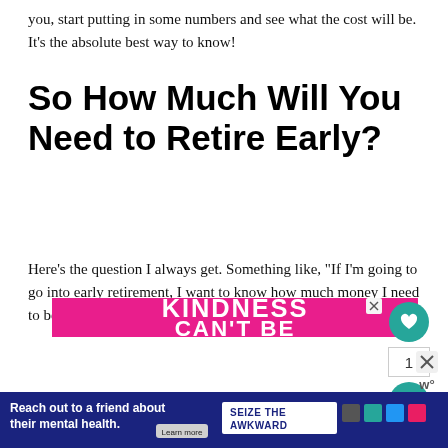you, start putting in some numbers and see what the cost will be. It's the absolute best way to know!
So How Much Will You Need to Retire Early?
Here's the question I always get. Something like, "If I'm going to go into early retirement, I want to know how much money I need to be set for life."
[Figure (screenshot): Pink advertisement banner with white text reading 'KINDNESS CAN'T BE' and a small close (X) button in the top right corner]
[Figure (screenshot): Dark blue advertisement banner reading 'Reach out to a friend about their mental health.' with a 'Learn more' button and 'SEIZE THE AWKWARD' badge with sponsor logos]